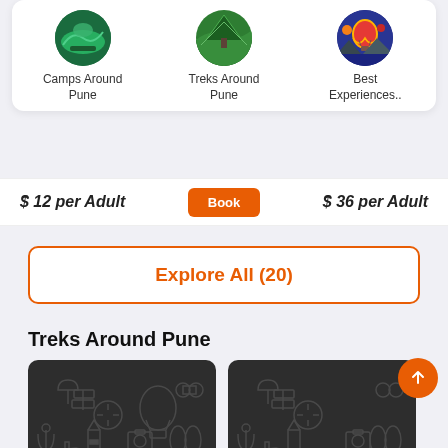[Figure (screenshot): Travel app UI showing category icons: Camps Around Pune, Treks Around Pune, Best Experiences..]
$ 12 per Adult
$ 36 per Adult
Explore All (20)
Treks Around Pune
[Figure (photo): Dark placeholder image for trek card with travel icons overlay showing 1D/1N Igatpuri]
Kalsubai Trek - Kalsubai Sunrise
[Figure (photo): Dark placeholder image for trek card with travel icons overlay showing 2D/1N Ahmed]
Sandhan Valley Trek